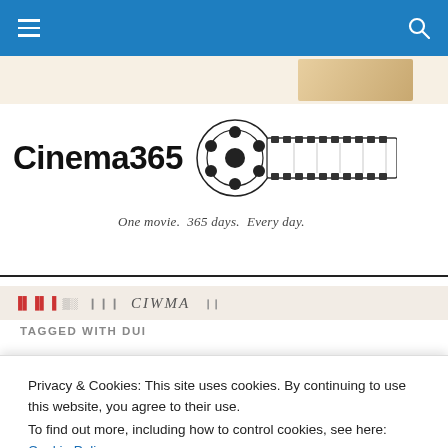Cinema365 navigation bar with hamburger menu and search icon
[Figure (logo): Cinema365 logo with film reel graphic and film strip extending to the right. Tagline: One movie. 365 days. Every day.]
TAGGED WITH DUI
The drinking driver...
Privacy & Cookies: This site uses cookies. By continuing to use this website, you agree to their use.
To find out more, including how to control cookies, see here: Cookie Policy
Close and accept